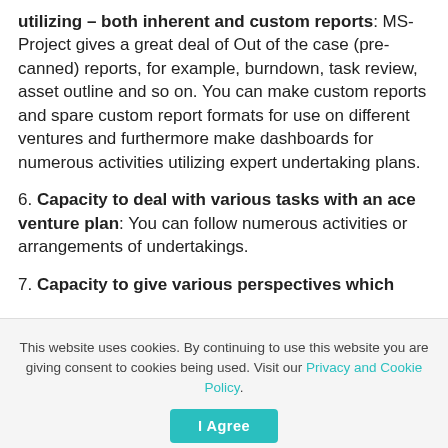utilizing – both inherent and custom reports: MS-Project gives a great deal of Out of the case (pre-canned) reports, for example, burndown, task review, asset outline and so on. You can make custom reports and spare custom report formats for use on different ventures and furthermore make dashboards for numerous activities utilizing expert undertaking plans.
6. Capacity to deal with various tasks with an ace venture plan: You can follow numerous activities or arrangements of undertakings.
7. Capacity to give various perspectives which
This website uses cookies. By continuing to use this website you are giving consent to cookies being used. Visit our Privacy and Cookie Policy.